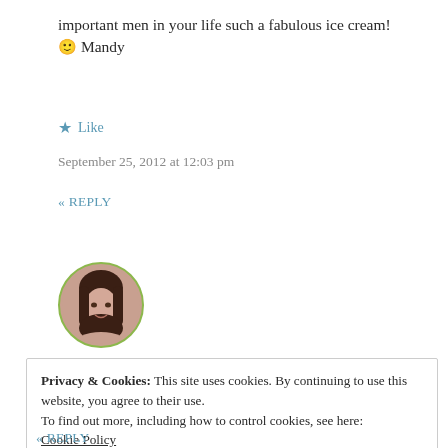important men in your life such a fabulous ice cream!
🙂 Mandy
★ Like
September 25, 2012 at 12:03 pm
« REPLY
[Figure (photo): Circular avatar photo of a woman with dark hair, bordered by a green circle]
Privacy & Cookies: This site uses cookies. By continuing to use this website, you agree to their use.
To find out more, including how to control cookies, see here:
Cookie Policy
Close and accept
« REPLY